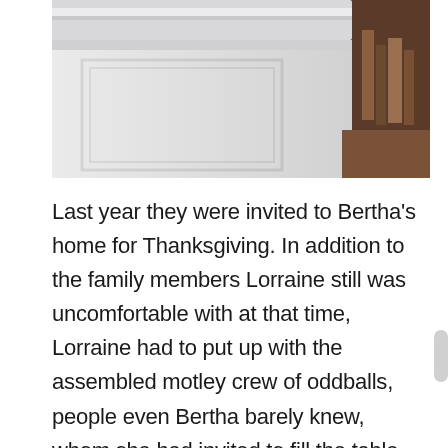[Figure (photo): A white painted furniture piece (appears to be a mantel or cabinet top) with molding detail, photographed from below at an angle. Dark wood visible in the background on the right side.]
Last year they were invited to Bertha's home for Thanksgiving. In addition to the family members Lorraine still was uncomfortable with at that time, Lorraine had to put up with the assembled motley crew of oddballs, people even Bertha barely knew, whom she had invited to fill the table. All the guests aside from Lorraine (dressed in Eileen Fisher)  wore clothes it looked like they had worn to do some gardening just before they arrived, and the